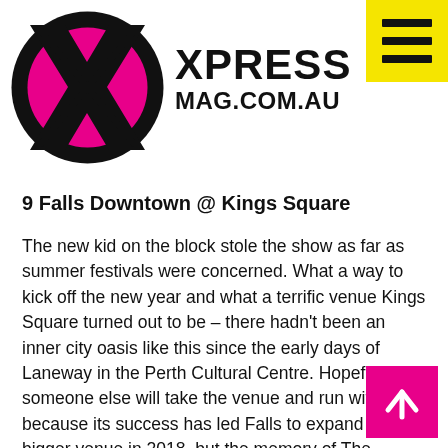[Figure (logo): Xpress Magazine logo: black circle with pink X shape in center, bold black text XPRESS MAG.COM.AU to the right, yellow hamburger menu button in top-right corner]
9 Falls Downtown @ Kings Square
The new kid on the block stole the show as far as summer festivals were concerned. What a way to kick off the new year and what a terrific venue Kings Square turned out to be – there hadn't been an inner city oasis like this since the early days of Laneway in the Perth Cultural Centre. Hopefully someone else will take the venue and run with it because its success has led Falls to expand to a bigger venue in 2018, but the memory of The Avalanches finally playing Perth alongside other standouts Booka Shade, The Jezabels, Client Liaison and Parquet Courts will live on